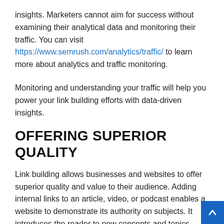insights. Marketers cannot aim for success without examining their analytical data and monitoring their traffic. You can visit https://www.semrush.com/analytics/traffic/ to learn more about analytics and traffic monitoring.
Monitoring and understanding your traffic will help you power your link building efforts with data-driven insights.
OFFERING SUPERIOR QUALITY
Link building allows businesses and websites to offer superior quality and value to their audience. Adding internal links to an article, video, or podcast enables a website to demonstrate its authority on subjects. It introduces the reader to new concepts and topics, making an effort to empower the visitor with knowledge.